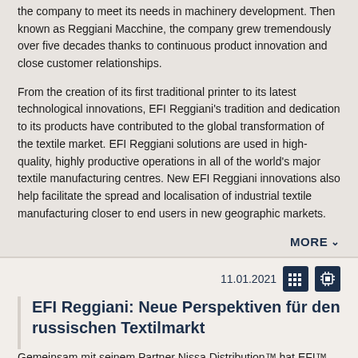the company to meet its needs in machinery development. Then known as Reggiani Macchine, the company grew tremendously over five decades thanks to continuous product innovation and close customer relationships.
From the creation of its first traditional printer to its latest technological innovations, EFI Reggiani's tradition and dedication to its products have contributed to the global transformation of the textile market. EFI Reggiani solutions are used in high-quality, highly productive operations in all of the world's major textile manufacturing centres. New EFI Reggiani innovations also help facilitate the spread and localisation of industrial textile manufacturing closer to end users in new geographic markets.
MORE ∨
11.01.2021
EFI Reggiani: Neue Perspektiven für den russischen Textilmarkt
Gemeinsam mit seinem Partner Nissa Distribution™ hat EFI™ Reggiani in Russland drei neue Verkaufsverträge für die Lieferung und Installation